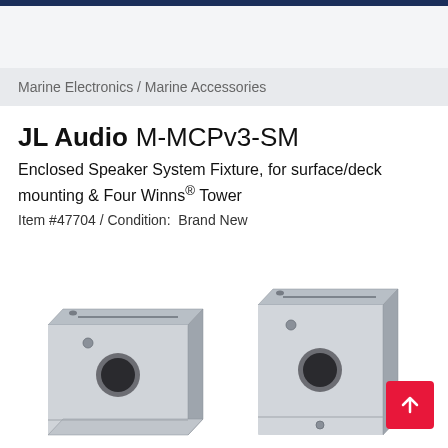Marine Electronics / Marine Accessories
JL Audio M-MCPv3-SM
Enclosed Speaker System Fixture, for surface/deck mounting & Four Winns® Tower
Item #47704 / Condition:  Brand New
[Figure (photo): Photo of two silver metal mounting brackets (M-MCPv3-SM) for the JL Audio enclosed speaker system, shown at an angle against a white background. The metal clamps have holes and slots for mounting.]